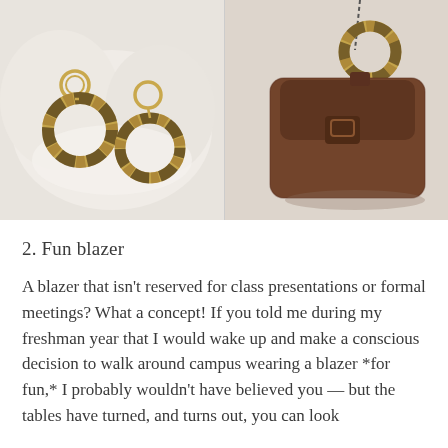[Figure (photo): Two-panel photo: left panel shows tortoiseshell acrylic hoop earrings with gold hardware on a white fabric background; right panel shows a small brown suede/leather handbag with a tortoiseshell ring handle hanging against a light background.]
2. Fun blazer
A blazer that isn't reserved for class presentations or formal meetings? What a concept! If you told me during my freshman year that I would wake up and make a conscious decision to walk around campus wearing a blazer *for fun,* I probably wouldn't have believed you — but the tables have turned, and turns out, you can look